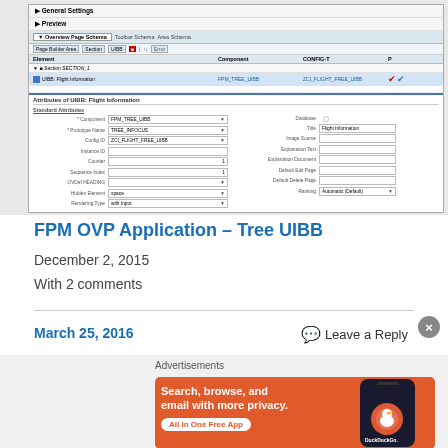[Figure (screenshot): Screenshot of an SAP FPM OVP Application configuration interface showing General Settings, Preview, Overview Page Schema tabs, and attribute configuration for a Flight Information UIBB component with fields like Component (FPM_TREE_UIBB), Prototype Name (TREE_INFOCUS), Config ID (ZCI_FLIGHT_TREE_UIBB), Instance ID, Counter, Sequence Index, OVP/Def Heading, Hidden Element (space), Rendering Type (with input).]
FPM OVP Application – Tree UIBB
December 2, 2015
With 2 comments
March 25, 2016
Leave a Reply
Advertisements
[Figure (illustration): DuckDuckGo advertisement banner with orange background showing text 'Search, browse, and email with more privacy. All in One Free App' with a phone and DuckDuckGo logo on the right side.]